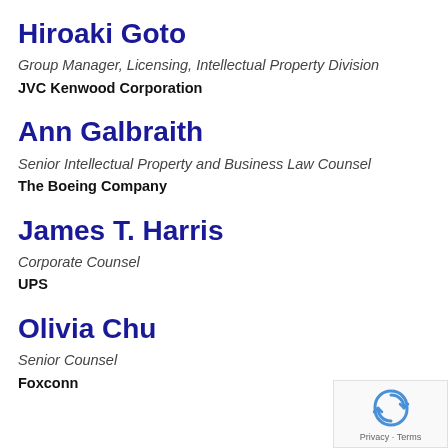Hiroaki Goto
Group Manager, Licensing, Intellectual Property Division
JVC Kenwood Corporation
Ann Galbraith
Senior Intellectual Property and Business Law Counsel
The Boeing Company
James T. Harris
Corporate Counsel
UPS
Olivia Chu
Senior Counsel
Foxconn
[Figure (logo): Google reCAPTCHA badge with recycle-style arrows logo and 'Privacy · Terms' text]